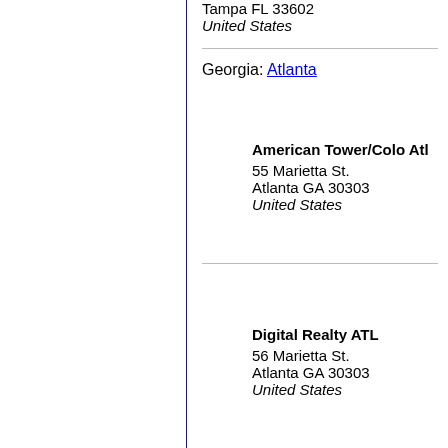Tampa FL 33602
United States
Georgia: Atlanta
American Tower/Colo Atl
55 Marietta St.
Atlanta GA 30303
United States
Digital Realty ATL
56 Marietta St.
Atlanta GA 30303
United States